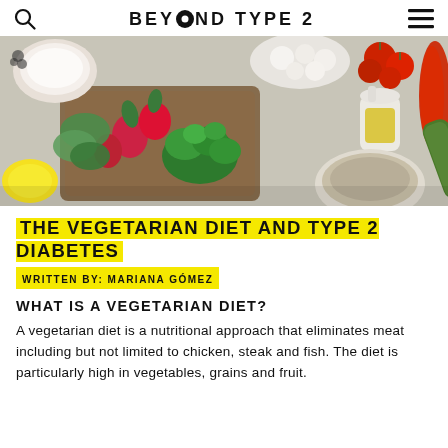BEYOND TYPE 2
[Figure (photo): Overhead view of assorted fresh vegetables and ingredients on a table: radishes, broccoli, leafy greens, lemon, sour cream in a bowl, mozzarella balls, cherry tomatoes, red bell pepper, zucchini, olive oil, and a bowl of grains, arranged around a wooden cutting board.]
THE VEGETARIAN DIET AND TYPE 2 DIABETES
WRITTEN BY: MARIANA GÓMEZ
WHAT IS A VEGETARIAN DIET?
A vegetarian diet is a nutritional approach that eliminates meat including but not limited to chicken, steak and fish. The diet is particularly high in vegetables, grains and fruit.